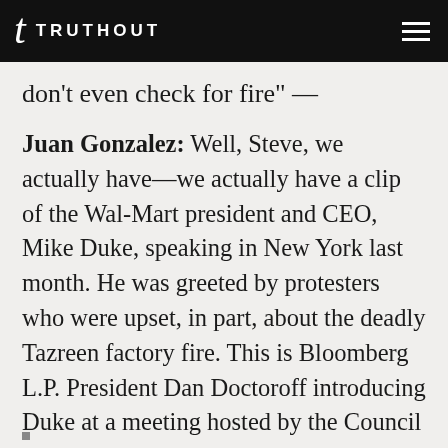TRUTHOUT
don't even check for fire" —
Juan Gonzalez: Well, Steve, we actually have—we actually have a clip of the Wal-Mart president and CEO, Mike Duke, speaking in New York last month. He was greeted by protesters who were upset, in part, about the deadly Tazreen factory fire. This is Bloomberg L.P. President Dan Doctoroff introducing Duke at a meeting hosted by the Council on Foreign Relations.